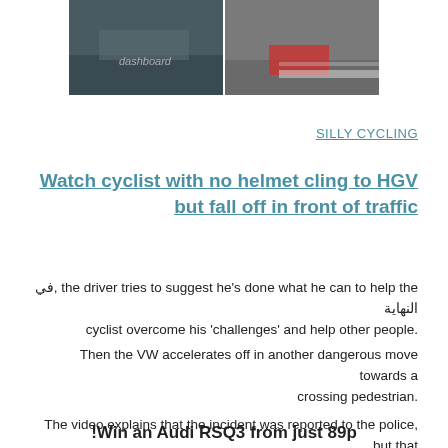[Figure (photo): Two side-by-side cropped photos — left shows a dark car dashboard/road scene, right shows a road with red vehicle detail]
SILLY CYCLING
Watch cyclist with no helmet cling to HGV but fall off in front of traffic
the driver tries to suggest he's done what he can to help the ,في النهاية .cyclist overcome his 'challenges' and help other people
Then the VW accelerates off in another dangerous move towards a .crossing pedestrian
The video explains that the incident was reported to the police, but that .they were unable to identify the driver
!Win an Audi RSQ3 from just 89p